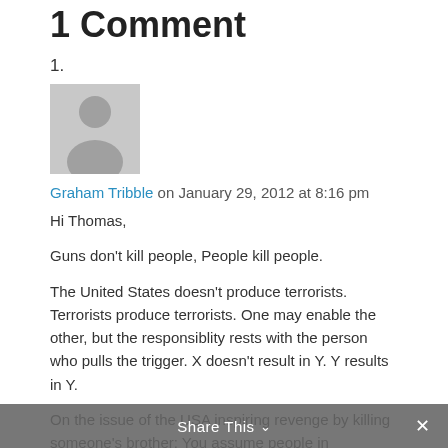1 Comment
1.
[Figure (illustration): Default user avatar — grey square with a silhouette of a person (circle head and rounded body) in lighter grey]
Graham Tribble on January 29, 2012 at 8:16 pm
Hi Thomas,

Guns don't kill people, People kill people.

The United States doesn't produce terrorists. Terrorists produce terrorists. One may enable the other, but the responsiblity rests with the person who pulls the trigger. X doesn't result in Y. Y results in Y.

On the issue of the USA inspiring revenge by killing someone's brother: You assume people in Afghanistan are content with totalitarians ruling them and their
Share This ∨  ✕